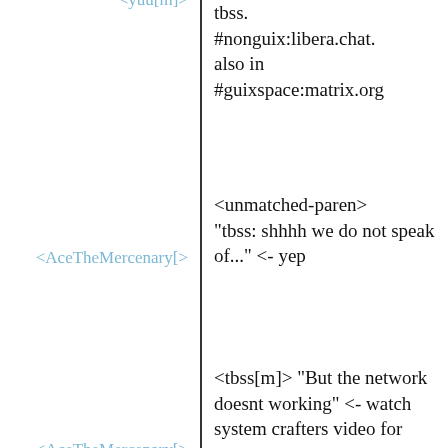<yuu[m]>
tbss.
#nonguix:libera.chat.
also in
#guixspace:matrix.org
<AceTheMercenary[>
<unmatched-paren>
"tbss: shhhh we do not speak of..." <- yep
<AceTheMercenary[>
<tbss[m]> "But the network doesnt working" <- watch system crafters video for anything related to guix
<AceTheMercenary[>
and also (obvsly) the official vids and doc is yop notch